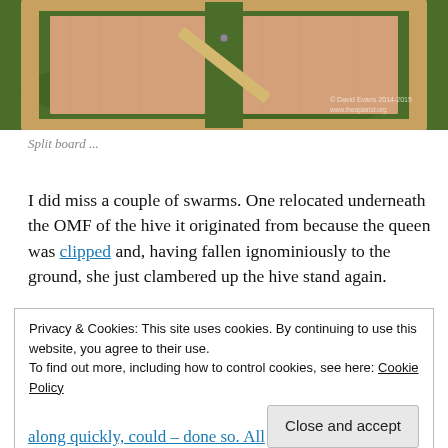[Figure (photo): Photograph of a wooden beehive split board lying on grass, viewed from above. Light wood frame with pink/plywood center panels and a diagonal wooden support piece. Copyright David Evans 2014-2015, www.theapiarist.org watermark visible.]
Split board ...
I did miss a couple of swarms. One relocated underneath the OMF of the hive it originated from because the queen was clipped and, having fallen ignominiously to the ground, she just clambered up the hive stand again.
Privacy & Cookies: This site uses cookies. By continuing to use this website, you agree to their use.
To find out more, including how to control cookies, see here: Cookie Policy
[Close and accept button]
along quickly, could – done so. All